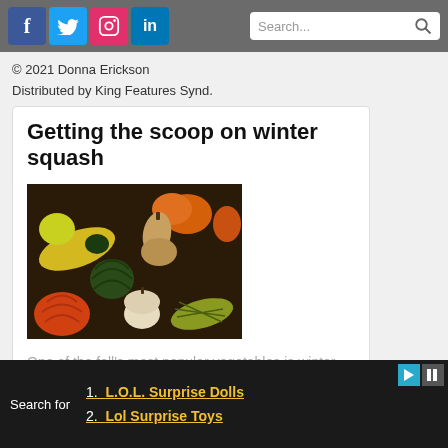Social media icons: Facebook, Twitter, Instagram, LinkedIn | Search bar
© 2021 Donna Erickson
Distributed by King Features Synd.
Getting the scoop on winter squash
[Figure (photo): Assorted colorful winter squash varieties arranged on a dark background — includes yellow, orange, green striped, white, and tan squash varieties]
One of the fall's most popular vegetables is winter squash.
1. L.O.L. Surprise Dolls
2. Lol Surprise Toys